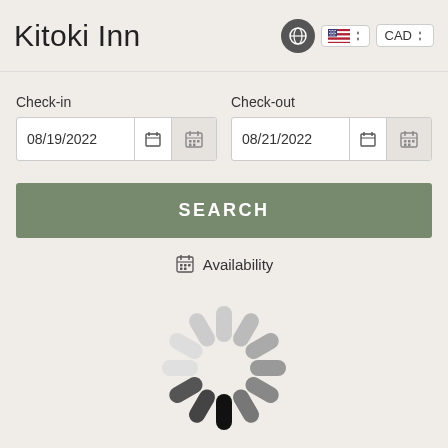Kitoki Inn
Check-in
08/19/2022
Check-out
08/21/2022
SEARCH
Availability
[Figure (other): Circular loading spinner with 12 rounded bars arranged in a clock pattern, ranging from light gray at the top to dark/black at the bottom, indicating a loading state.]